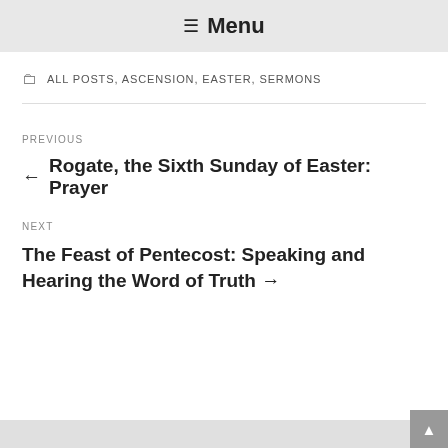≡ Menu
ALL POSTS, ASCENSION, EASTER, SERMONS
PREVIOUS
← Rogate, the Sixth Sunday of Easter: Prayer
NEXT
The Feast of Pentecost: Speaking and Hearing the Word of Truth →
▲